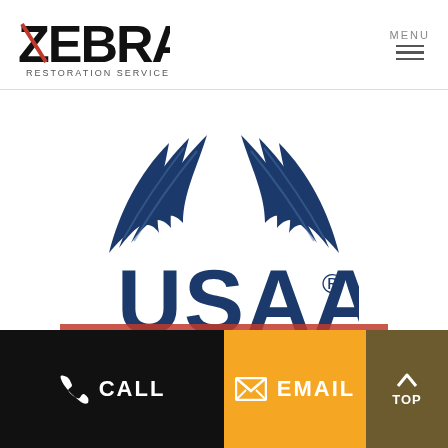[Figure (logo): Zebra Restoration Services logo — bold black and red text with stylized Z]
MENU
[Figure (logo): USAA logo — dark navy blue eagle wings graphic above large USAA text with registered trademark symbol]
CALL
EMAIL
TOP